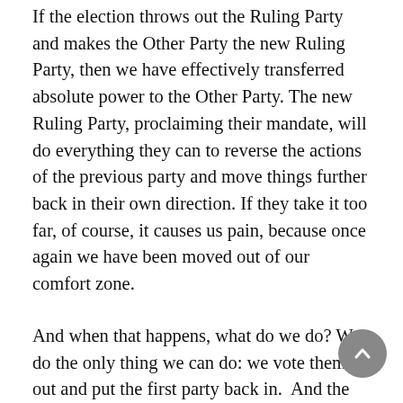If the election throws out the Ruling Party and makes the Other Party the new Ruling Party, then we have effectively transferred absolute power to the Other Party. The new Ruling Party, proclaiming their mandate, will do everything they can to reverse the actions of the previous party and move things further back in their own direction. If they take it too far, of course, it causes us pain, because once again we have been moved out of our comfort zone.
And when that happens, what do we do? We do the only thing we can do: we vote them out and put the first party back in.  And the process begins all over again.